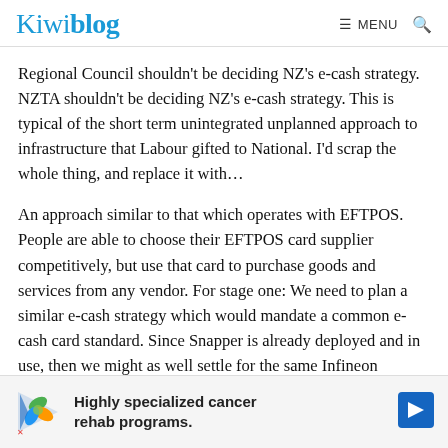Kiwiblog   ≡ MENU  🔍
Regional Council shouldn't be deciding NZ's e-cash strategy. NZTA shouldn't be deciding NZ's e-cash strategy. This is typical of the short term unintegrated unplanned approach to infrastructure that Labour gifted to National. I'd scrap the whole thing, and replace it with…
An approach similar to that which operates with EFTPOS. People are able to choose their EFTPOS card supplier competitively, but use that card to purchase goods and services from any vendor. For stage one: We need to plan a similar e-cash strategy which would mandate a common e-cash card standard. Since Snapper is already deployed and in use, then we might as well settle for the same Infineon standard that they have used for their cards. People would b… rds-complain… their
[Figure (other): Advertisement overlay: Highly specialized cancer rehab programs. Contains a colorful leaf/play icon logo on the left and a blue navigation arrow icon on the right.]